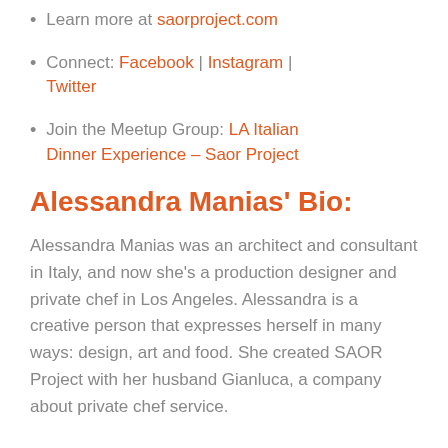Learn more at saorproject.com
Connect: Facebook | Instagram | Twitter
Join the Meetup Group: LA Italian Dinner Experience – Saor Project
Alessandra Manias' Bio:
Alessandra Manias was an architect and consultant in Italy, and now she's a production designer and private chef in Los Angeles. Alessandra is a creative person that expresses herself in many ways: design, art and food. She created SAOR Project with her husband Gianluca, a company about private chef service.